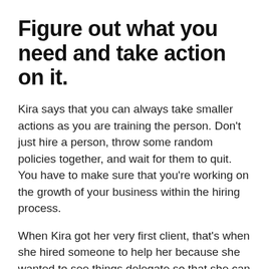Figure out what you need and take action on it.
Kira says that you can always take smaller actions as you are training the person. Don't just hire a person, throw some random policies together, and wait for them to quit. You have to make sure that you're working on the growth of your business within the hiring process.
When Kira got her very first client, that's when she hired someone to help her because she wanted to see things delegate so that she can continue to push the needle.
That's EXACTLY what she wants to see more women do. It's going to be hard but be brave so that your